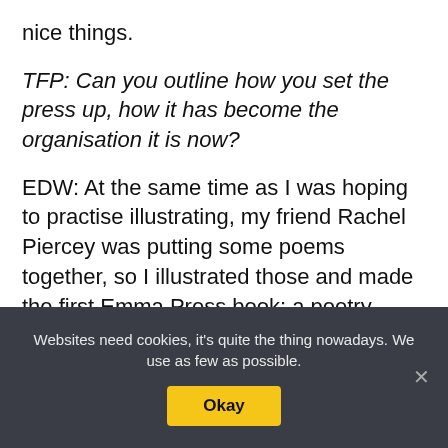nice things.
TFP: Can you outline how you set the press up, how it has become the organisation it is now?
EDW: At the same time as I was hoping to practise illustrating, my friend Rachel Piercey was putting some poems together, so I illustrated those and made the first Emma Press book: a poetry pamphlet called The Flower and the Plough, which launched in 2013. I'd
Websites need cookies, it's quite the thing nowadays. We use as few as possible.